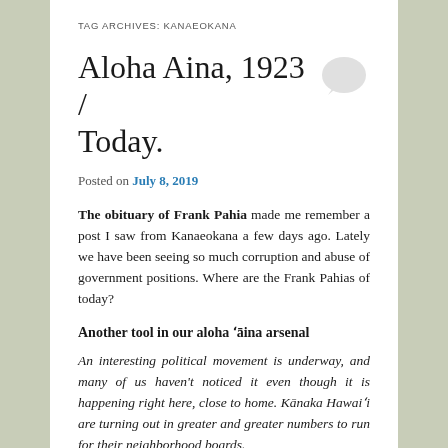TAG ARCHIVES: KANAEOKANA
Aloha Aina, 1923 / Today.
Posted on July 8, 2019
The obituary of Frank Pahia made me remember a post I saw from Kanaeokana a few days ago. Lately we have been seeing so much corruption and abuse of government positions. Where are the Frank Pahias of today?
Another tool in our aloha ʻāina arsenal
An interesting political movement is underway, and many of us haven’t noticed it even though it is happening right here, close to home. Kānaka Hawaiʻi are turning out in greater and greater numbers to run for their neighborhood boards.